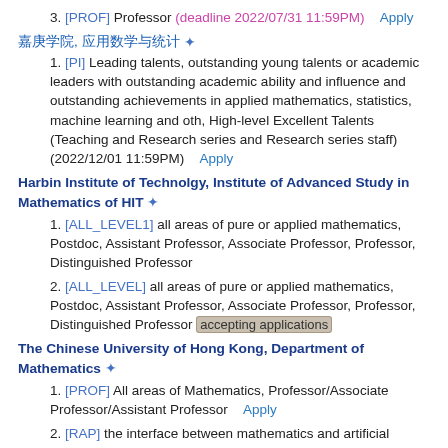3. [PROF] Professor (deadline 2022/07/31 11:59PM)   Apply
嘉庚学院, 应用数学与统计 *
1. [PI] Leading talents, outstanding young talents or academic leaders with outstanding academic ability and influence and outstanding achievements in applied mathematics, statistics, machine learning and oth, High-level Excellent Talents (Teaching and Research series and Research series staff) (2022/12/01 11:59PM)   Apply
Harbin Institute of Technolgy, Institute of Advanced Study in Mathematics of HIT *
1. [ALL_LEVEL1] all areas of pure or applied mathematics, Postdoc, Assistant Professor, Associate Professor, Professor, Distinguished Professor
2. [ALL_LEVEL] all areas of pure or applied mathematics, Postdoc, Assistant Professor, Associate Professor, Professor, Distinguished Professor (accepting applications)
The Chinese University of Hong Kong, Department of Mathematics *
1. [PROF] All areas of Mathematics, Professor/Associate Professor/Assistant Professor   Apply
2. [RAP] the interface between mathematics and artificial intelligence, Research Assistant Professor   Apply
3. [RAP_PDF] All areas of Mathematics, Research Assistant